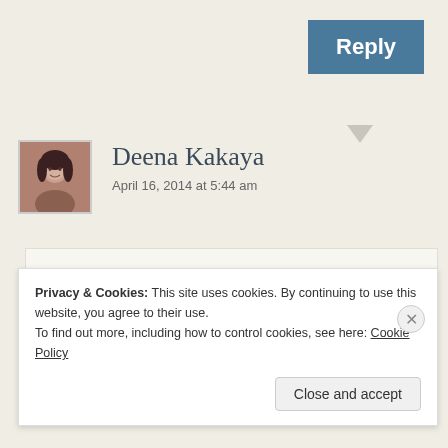[Figure (screenshot): Reply button in blue/teal color in the top right area]
[Figure (photo): Avatar photo of Deena Kakaya - woman with dark hair]
Deena Kakaya
April 16, 2014 at 5:44 am
Deena, some nights are better than others....
Privacy & Cookies: This site uses cookies. By continuing to use this website, you agree to their use.
To find out more, including how to control cookies, see here: Cookie Policy
Close and accept